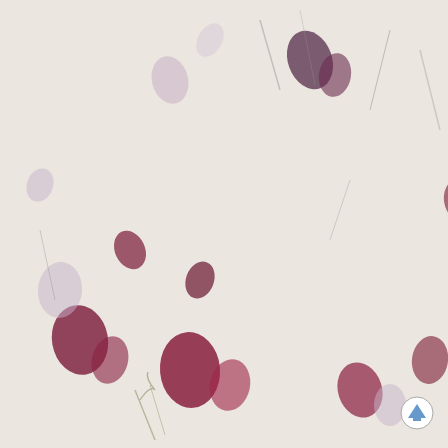[Figure (photo): Background image of pressed flower petals (crimson/pink) and dried herbs scattered on white handmade paper texture]
Continue »
Posted by Sandra at [time]
Labels: author interviews, promo
Newer Posts